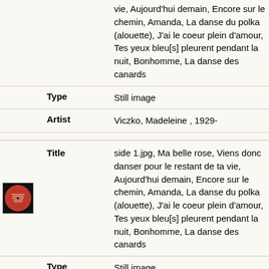|  | Field | Value |
| --- | --- | --- |
|  |  | vie, Aujourd'hui demain, Encore sur le chemin, Amanda, La danse du polka (alouette), J'ai le coeur plein d'amour, Tes yeux bleu[s] pleurent pendant la nuit, Bonhomme, La danse des canards |
|  | Type | Still image |
|  | Artist | Viczko, Madeleine , 1929- |
| [vinyl record thumbnail] | Title | side 1.jpg, Ma belle rose, Viens donc danser pour le restant de ta vie, Aujourd'hui demain, Encore sur le chemin, Amanda, La danse du polka (alouette), J'ai le coeur plein d'amour, Tes yeux bleu[s] pleurent pendant la nuit, Bonhomme, La danse des canards |
|  | Type | Still image |
|  | Artist | Viczko, Madeleine , 1929- |